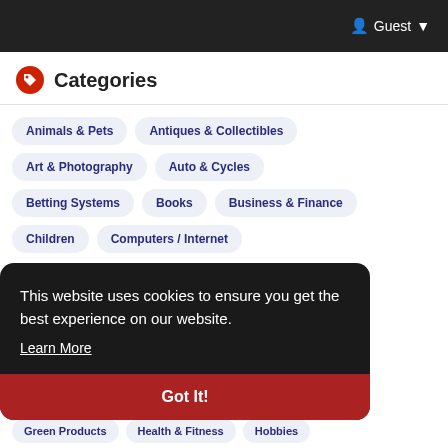Guest
Categories
Animals & Pets
Antiques & Collectibles
Art & Photography
Auto & Cycles
Betting Systems
Books
Business & Finance
Children
Computers / Internet
This website uses cookies to ensure you get the best experience on our website.
Learn More
Got It!
Green Products
Health & Fitness
Hobbies